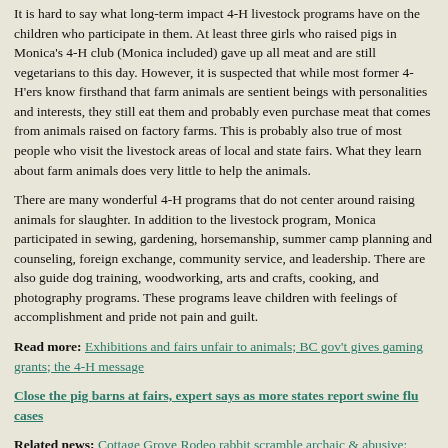It is hard to say what long-term impact 4-H livestock programs have on the children who participate in them. At least three girls who raised pigs in Monica's 4-H club (Monica included) gave up all meat and are still vegetarians to this day. However, it is suspected that while most former 4-H'ers know firsthand that farm animals are sentient beings with personalities and interests, they still eat them and probably even purchase meat that comes from animals raised on factory farms. This is probably also true of most people who visit the livestock areas of local and state fairs. What they learn about farm animals does very little to help the animals.
There are many wonderful 4-H programs that do not center around raising animals for slaughter. In addition to the livestock program, Monica participated in sewing, gardening, horsemanship, summer camp planning and counseling, foreign exchange, community service, and leadership. There are also guide dog training, woodworking, arts and crafts, cooking, and photography programs. These programs leave children with feelings of accomplishment and pride not pain and guilt.
Read more: Exhibitions and fairs unfair to animals; BC gov't gives gaming grants; the 4-H message
Close the pig barns at fairs, expert says as more states report swine flu cases
Related news: Cottage Grove Rodeo rabbit scramble archaic & abusive; legality of animal 'scrambles', OR & MS